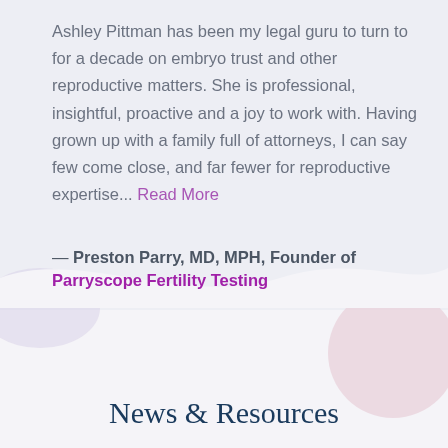Ashley Pittman has been my legal guru to turn to for a decade on embryo trust and other reproductive matters. She is professional, insightful, proactive and a joy to work with. Having grown up with a family full of attorneys, I can say few come close, and far fewer for reproductive expertise... Read More
— Preston Parry, MD, MPH, Founder of Parryscope Fertility Testing
News & Resources